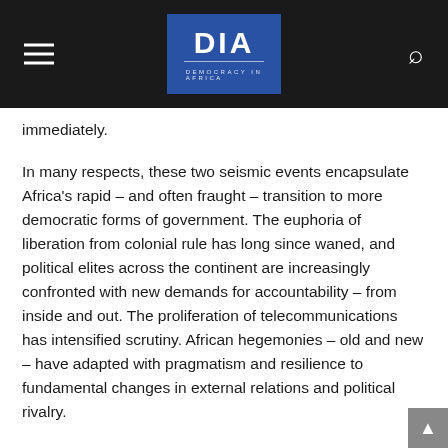DIA DEMOCRACY IN AFRICA
immediately.
In many respects, these two seismic events encapsulate Africa's rapid – and often fraught – transition to more democratic forms of government. The euphoria of liberation from colonial rule has long since waned, and political elites across the continent are increasingly confronted with new demands for accountability – from inside and out. The proliferation of telecommunications has intensified scrutiny. African hegemonies – old and new – have adapted with pragmatism and resilience to fundamental changes in external relations and political rivalry.
Multi-party elections are now a salient feature of Africa's fast evolving political landscape. In 1989, three African countries